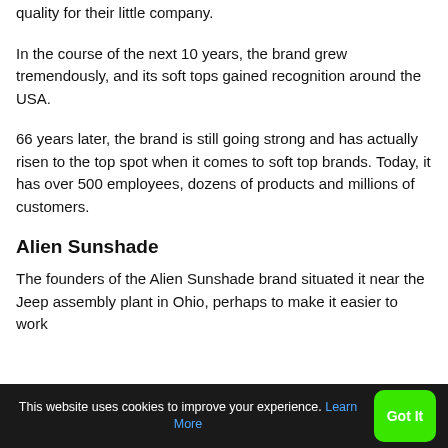quality for their little company.
In the course of the next 10 years, the brand grew tremendously, and its soft tops gained recognition around the USA.
66 years later, the brand is still going strong and has actually risen to the top spot when it comes to soft top brands. Today, it has over 500 employees, dozens of products and millions of customers.
Alien Sunshade
The founders of the Alien Sunshade brand situated it near the Jeep assembly plant in Ohio, perhaps to make it easier to work
This website uses cookies to improve your experience. Learn More